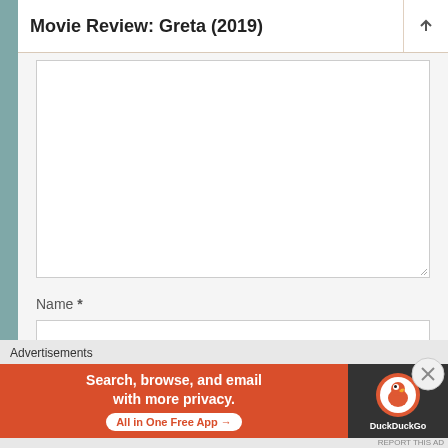Movie Review: Greta (2019)
[Figure (screenshot): Comment text area input box, empty, with resize handle at bottom right]
Name *
[Figure (screenshot): Name input field, empty text box]
Email *
[Figure (screenshot): Email input field, partially visible]
Advertisements
[Figure (infographic): DuckDuckGo advertisement banner: orange left panel with text 'Search, browse, and email with more privacy. All in One Free App' and dark right panel with DuckDuckGo duck logo]